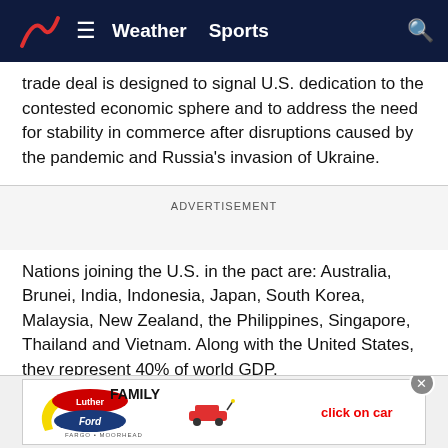Weather  Sports
trade deal is designed to signal U.S. dedication to the contested economic sphere and to address the need for stability in commerce after disruptions caused by the pandemic and Russia's invasion of Ukraine.
ADVERTISEMENT
Nations joining the U.S. in the pact are: Australia, Brunei, India, Indonesia, Japan, South Korea, Malaysia, New Zealand, the Philippines, Singapore, Thailand and Vietnam. Along with the United States, they represent 40% of world GDP.
The co... will